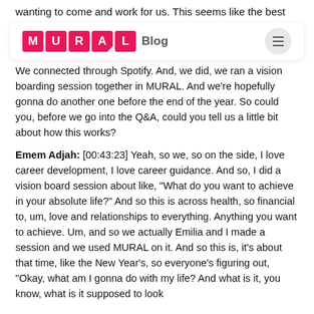wanting to come and work for us. This seems like the best
[Figure (logo): MURAL Blog navigation bar with pink MURAL letter tiles, Blog label, and hamburger menu button]
We connected through Spotify. And, we did, we ran a vision boarding session together in MURAL. And we're hopefully gonna do another one before the end of the year. So could you, before we go into the Q&A, could you tell us a little bit about how this works?
Emem Adjah: [00:43:23] Yeah, so we, so on the side, I love career development, I love career guidance. And so, I did a vision board session about like, "What do you want to achieve in your absolute life?" And so this is across health, so financial to, um, love and relationships to everything. Anything you want to achieve. Um, and so we actually Emilia and I made a session and we used MURAL on it. And so this is, it's about that time, like the New Year's, so everyone's figuring out, "Okay, what am I gonna do with my life? And what is it, you know, what is it supposed to look